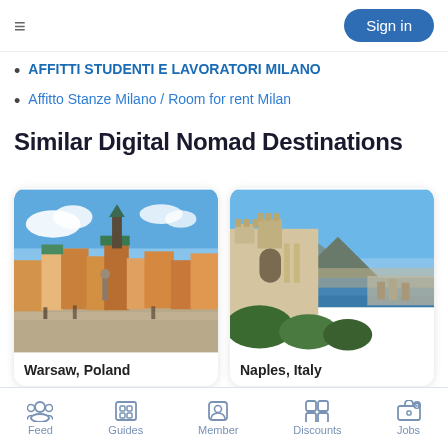Sign in
AFFITTI STUDENTI E LAVORATORI MILANO
Affitto Stanze Milano / Room for rent Milan
Similar Digital Nomad Destinations
[Figure (photo): Aerial photo of Warsaw, Poland old town square with colorful buildings, church, and monument]
Warsaw, Poland
[Figure (photo): Photo of Naples, Italy showing a historic castle building with Mount Vesuvius and the bay in the background]
Naples, Italy
Feed  Guides  Member  Discounts  Jobs